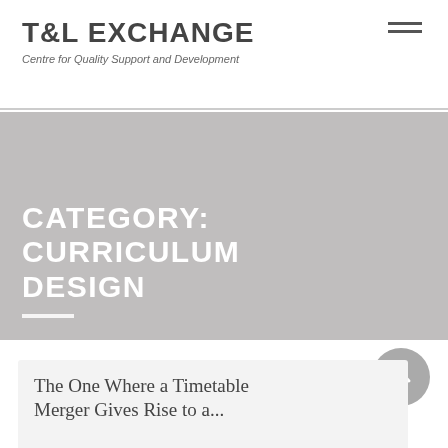T&L EXCHANGE — Centre for Quality Support and Development
CATEGORY: CURRICULUM DESIGN
[Figure (screenshot): Grey hero banner background image]
The One Where a Timetable Merger Gives Rise to a...